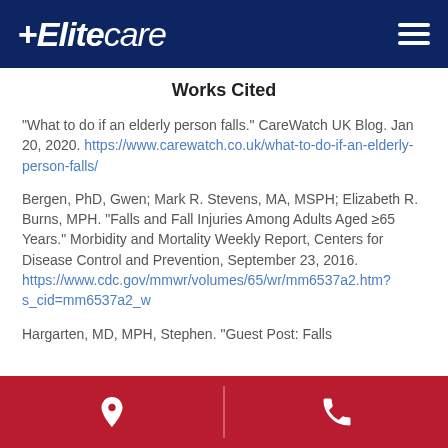Elitecare
Works Cited
"What to do if an elderly person falls." CareWatch UK Blog. Jan 20, 2020. https://www.carewatch.co.uk/what-to-do-if-an-elderly-person-falls/
Bergen, PhD, Gwen; Mark R. Stevens, MA, MSPH; Elizabeth R. Burns, MPH. "Falls and Fall Injuries Among Adults Aged ≥65 Years." Morbidity and Mortality Weekly Report, Centers for Disease Control and Prevention, September 23, 2016. https://www.cdc.gov/mmwr/volumes/65/wr/mm6537a2.htm?s_cid=mm6537a2_w
Hargarten, MD, MPH, Stephen. "Guest Post: Falls
Location | Phone